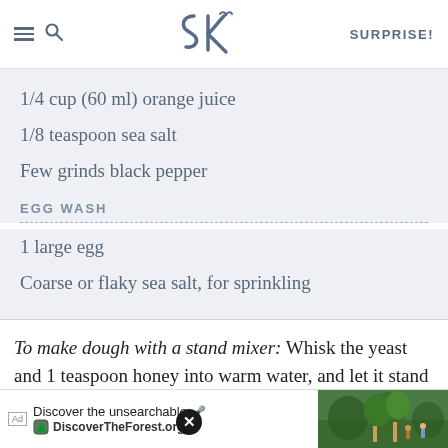SK SURPRISE!
1/4 cup (60 ml) orange juice
1/8 teaspoon sea salt
Few grinds black pepper
EGG WASH
1 large egg
Coarse or flaky sea salt, for sprinkling
To make dough with a stand mixer: Whisk the yeast and 1 teaspoon honey into warm water, and let it stand for a fe... owl, combin... 1/3
[Figure (screenshot): Advertisement banner for DiscoverTheForest.org with text 'Discover the unsearchable' and a forest image with people hiking. Close button visible.]